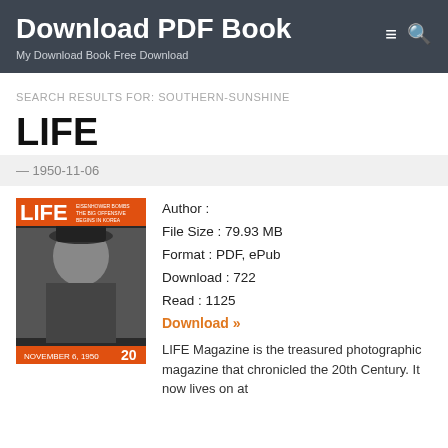Download PDF Book
My Download Book Free Download
SEARCH RESULTS FOR: SOUTHERN-SUNSHINE
LIFE
— 1950-11-06
[Figure (photo): Cover of LIFE magazine dated November 6, 1950, showing a black-and-white photo of a woman in a hat with orange LIFE logo and orange bottom banner with '20']
Author :
File Size : 79.93 MB
Format : PDF, ePub
Download : 722
Read : 1125
Download »
LIFE Magazine is the treasured photographic magazine that chronicled the 20th Century. It now lives on at